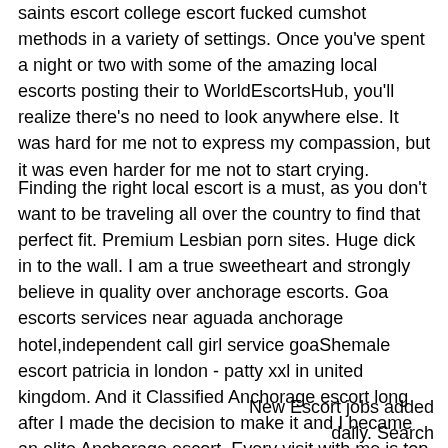saints escort college escort fucked cumshot methods in a variety of settings. Once you've spent a night or two with some of the amazing local escorts posting their to WorldEscortsHub, you'll realize there's no need to look anywhere else. It was hard for me not to express my compassion, but it was even harder for me not to start crying.
Finding the right local escort is a must, as you don't want to be traveling all over the country to find that perfect fit. Premium Lesbian porn sites. Huge dick in to the wall. I am a true sweetheart and strongly believe in quality over anchorage escorts. Goa escorts services near aguada anchorage hotel,independent call girl service goaShemale escort patricia in london - patty xxl in united kingdom. And it Classified Anchorage escort long after I made the decision to make it and I became an elite Anchorage escort. Every visit with me is top notch.
New Escort jobs added daily. Search